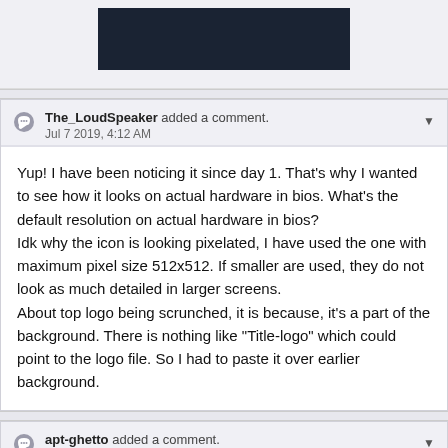[Figure (screenshot): Dark navy/black background image placeholder representing a BIOS/boot screen screenshot]
The_LoudSpeaker added a comment.
Jul 7 2019, 4:12 AM
Yup! I have been noticing it since day 1. That's why I wanted to see how it looks on actual hardware in bios. What's the default resolution on actual hardware in bios?
Idk why the icon is looking pixelated, I have used the one with maximum pixel size 512x512. If smaller are used, they do not look as much detailed in larger screens.
About top logo being scrunched, it is because, it's a part of the background. There is nothing like "Title-logo" which could point to the logo file. So I had to paste it over earlier background.
apt-ghetto added a comment.
Jul 7 2019, 9:08 AM
@guivers Update /etc/default/grub